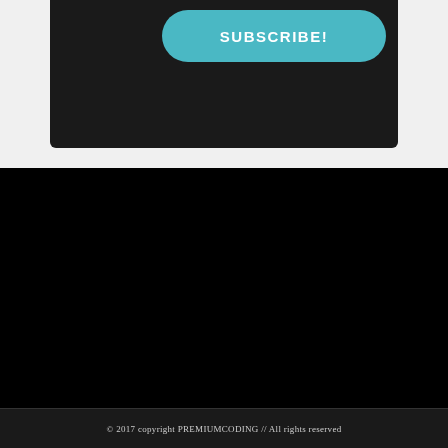SUBSCRIBE!
© 2017 copyright PREMIUMCODING // All rights reserved